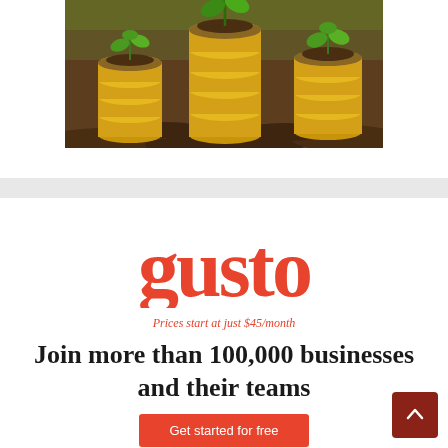[Figure (photo): Stacks of gold coins with plants growing out of soil on top of them, representing financial growth]
[Figure (logo): Gusto logo in coral/red color with serif font]
Prices start at just $45/month
Join more than 100,000 businesses and their teams
Get started for free